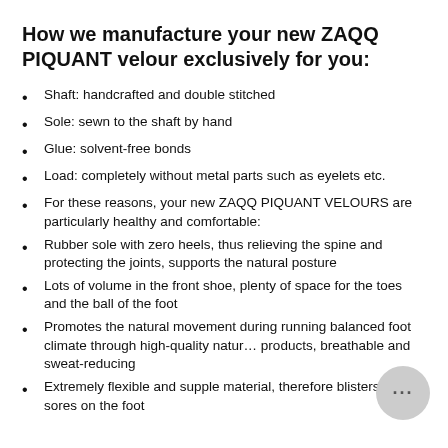How we manufacture your new ZAQQ PIQUANT velour exclusively for you:
Shaft: handcrafted and double stitched
Sole: sewn to the shaft by hand
Glue: solvent-free bonds
Load: completely without metal parts such as eyelets etc.
For these reasons, your new ZAQQ PIQUANT VELOURS are particularly healthy and comfortable:
Rubber sole with zero heels, thus relieving the spine and protecting the joints, supports the natural posture
Lots of volume in the front shoe, plenty of space for the toes and the ball of the foot
Promotes the natural movement during running balanced foot climate through high-quality natur… products, breathable and sweat-reducing
Extremely flexible and supple material, therefore blisters or sores on the foot